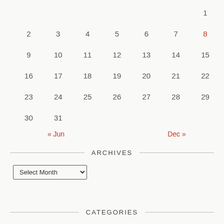| Sun | Mon | Tue | Wed | Thu | Fri | Sat |
| --- | --- | --- | --- | --- | --- | --- |
|  |  |  |  |  |  | 1 |
| 2 | 3 | 4 | 5 | 6 | 7 | 8 |
| 9 | 10 | 11 | 12 | 13 | 14 | 15 |
| 16 | 17 | 18 | 19 | 20 | 21 | 22 |
| 23 | 24 | 25 | 26 | 27 | 28 | 29 |
| 30 | 31 |  |  |  |  |  |
« Jun    Dec »
ARCHIVES
Select Month
CATEGORIES